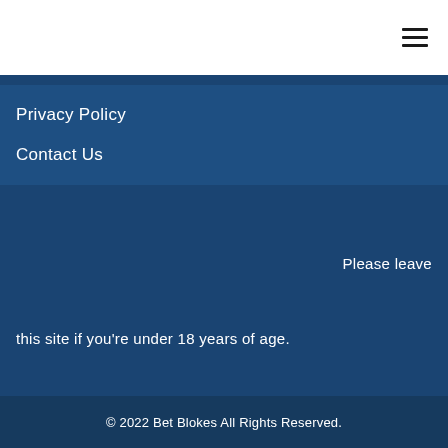Privacy Policy
Contact Us
Please leave
this site if you're under 18 years of age.
© 2022 Bet Blokes All Rights Reserved.